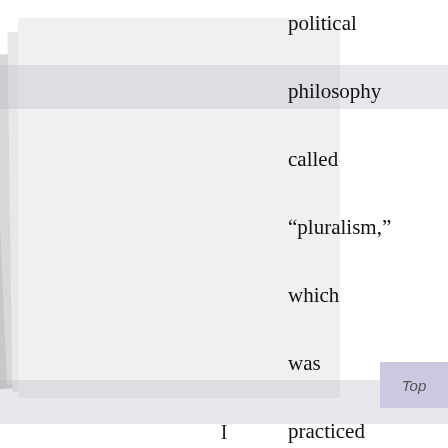[Figure (illustration): Stacked and slightly tilted light gray page layers forming a book or document visual in the left portion of the page]
political philosophy called “pluralism,” which was practiced traditionally as the two-party political system.
I